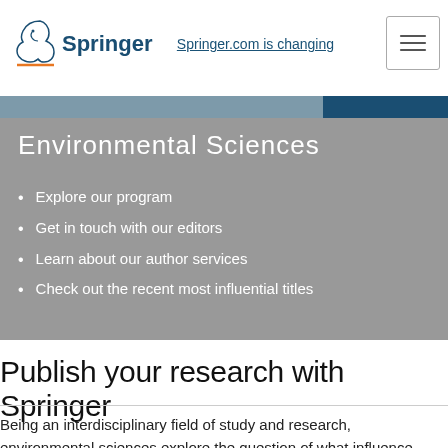Springer.com is changing
Environmental Sciences
Explore our program
Get in touch with our editors
Learn about our author services
Check out the recent most influential titles
Publish your research with Springer
Being an interdisciplinary field of study and research, environmental sciences explore the question of what influence